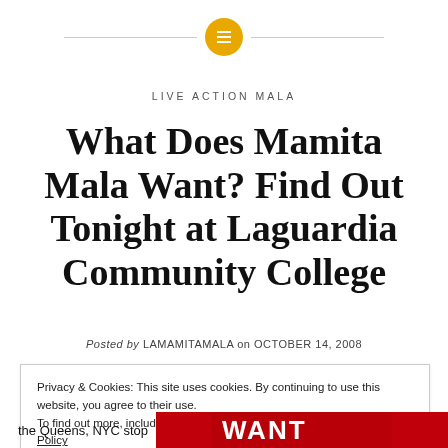[Figure (logo): Yellow circular icon with hamburger menu lines, flanked by horizontal lines, serving as site logo/header icon]
LIVE ACTION MALA
What Does Mamita Mala Want? Find Out Tonight at Laguardia Community College
Posted by LAMAMITAMALA on OCTOBER 14, 2008
Privacy & Cookies: This site uses cookies. By continuing to use this website, you agree to their use.
To find out more, including how to control cookies, see here: Cookie Policy
Close and accept
the Queens, NYC stop